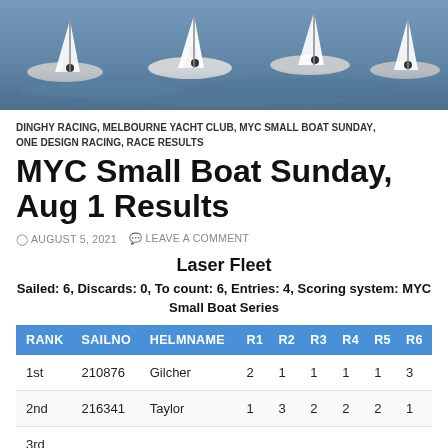[Figure (photo): Aerial/water-level photo of multiple dinghy sailboats racing on water]
DINGHY RACING, MELBOURNE YACHT CLUB, MYC SMALL BOAT SUNDAY, ONE DESIGN RACING, RACE RESULTS
MYC Small Boat Sunday, Aug 1 Results
AUGUST 5, 2021    LEAVE A COMMENT
Laser Fleet
Sailed: 6, Discards: 0, To count: 6, Entries: 4, Scoring system: MYC Small Boat Series
| RANK | SAILNO | HELMNAME | R1 | R2 | R3 | R4 | R5 | R6 |
| --- | --- | --- | --- | --- | --- | --- | --- | --- |
| 1st | 210876 | Gilcher | 2 | 1 | 1 | 1 | 1 | 3 |
| 2nd | 216341 | Taylor | 1 | 3 | 2 | 2 | 2 | 1 |
| 3rd |  |  |  |  |  |  |  |  |